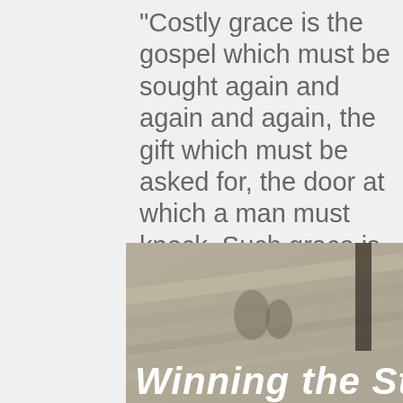“Costly grace is the gospel which must be sought again and again and again, the gift which must be asked for, the door at which a man must knock. Such grace is costly because it calls us to follow, and it is grace because it calls us to follow Jesus...
[Figure (photo): Black and white / sepia-toned photograph with text overlay reading 'Winning the Struggle' in bold italic script font]